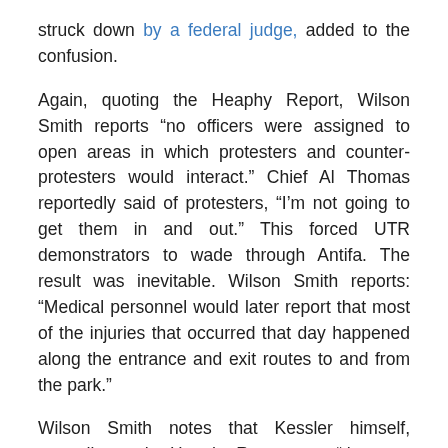struck down by a federal judge, added to the confusion.
Again, quoting the Heaphy Report, Wilson Smith reports “no officers were assigned to open areas in which protesters and counter-protesters would interact.” Chief Al Thomas reportedly said of protesters, “I’m not going to get them in and out.” This forced UTR demonstrators to wade through Antifa. The result was inevitable. Wilson Smith reports: “Medical personnel would later report that most of the injuries that occurred that day happened along the entrance and exit routes to and from the park.”
Wilson Smith notes that Kessler himself, according to the Heaphy Report, was “the most informative human source CPD had in advance of August 12.” Even so, she reports, police did not respond to communications from UTR demonstrators on August 12. Rather than clearing a path to the UTR demonstration, police forced